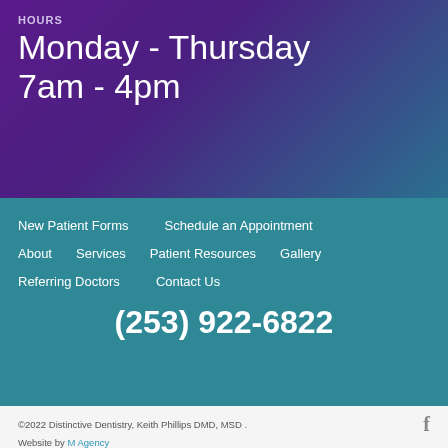HOURS
Monday - Thursday 7am - 4pm
New Patient Forms
Schedule an Appointment
About
Services
Patient Resources
Gallery
Referring Doctors
Contact Us
(253) 922-6822
©2022 Distinctive Dentistry, Keith Phillips DMD, MSD . Website by M Agency